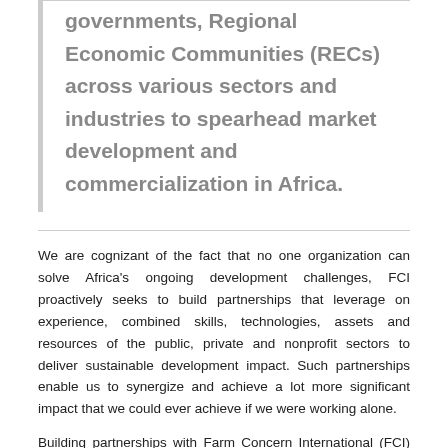governments, Regional Economic Communities (RECs) across various sectors and industries to spearhead market development and commercialization in Africa.
We are cognizant of the fact that no one organization can solve Africa's ongoing development challenges, FCI proactively seeks to build partnerships that leverage on experience, combined skills, technologies, assets and resources of the public, private and nonprofit sectors to deliver sustainable development impact. Such partnerships enable us to synergize and achieve a lot more significant impact that we could ever achieve if we were working alone.
Building partnerships with Farm Concern International (FCI) starts with pinpointing shared goals and what we aim